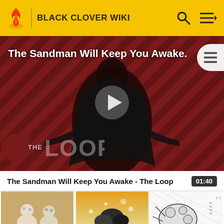BLACK CLOVER WIKI
[Figure (screenshot): Video thumbnail showing a dark figure in a cape against a red diagonal-striped background with 'THE LOOP' branding and a play button overlay. Title reads 'The Sandman Will Keep You Awake.']
The Sandman Will Keep You Awake - The Loop  01:40
[Figure (photo): Thumbnail of two snowman-like figures made from sheep wool or clay on a wooden surface]
Sheep Cook
[Figure (photo): Thumbnail showing dark stones or objects with abstract orange and white background]
Sleeping Sheep
[Figure (illustration): Manga illustration of a large creature with Japanese text]